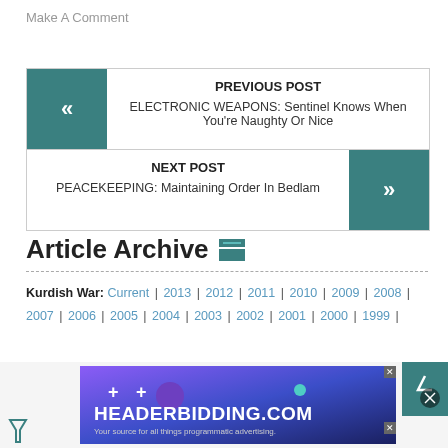Make A Comment
PREVIOUS POST ELECTRONIC WEAPONS: Sentinel Knows When You're Naughty Or Nice
NEXT POST PEACEKEEPING: Maintaining Order In Bedlam
Article Archive
Kurdish War: Current | 2013 | 2012 | 2011 | 2010 | 2009 | 2008 | 2007 | 2006 | 2005 | 2004 | 2003 | 2002 | 2001 | 2000 | 1999 |
[Figure (screenshot): HEADERBIDDING.COM advertisement banner]